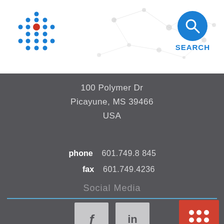[Figure (logo): Blue dot-grid logo with red center dot, company logo top left]
[Figure (illustration): Network/nodes decorative background graphic top right]
[Figure (other): Blue circular search button with magnifying glass icon and SEARCH label]
100 Polymer Dr
Picayune, MS 39466
USA
phone  601.749.8845
fax  601.749.4236
Social Media
[Figure (other): Facebook icon (f) in grey square]
[Figure (other): LinkedIn icon (in) in grey square]
[Figure (other): Red square with 3x3 grid of white dots (menu/apps button)]